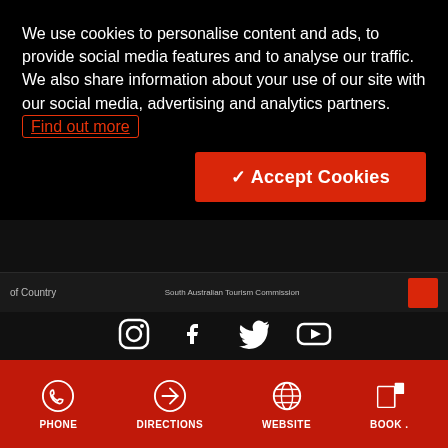We use cookies to personalise content and ads, to provide social media features and to analyse our traffic. We also share information about your use of our site with our social media, advertising and analytics partners. Find out more
✓ Accept Cookies
[Figure (other): Partial header bar showing 'of Country' text, South Australian Tourism Commission logo, and red button]
[Figure (other): Social media icons row: Instagram, Facebook, Twitter, YouTube]
[Figure (other): English language selector dropdown]
Media & Corporate  Trade Partners  Contact us
Copyright  Disclaimer  Privacy
[Figure (other): Bottom red action bar with PHONE, DIRECTIONS, WEBSITE, BOOK icons]